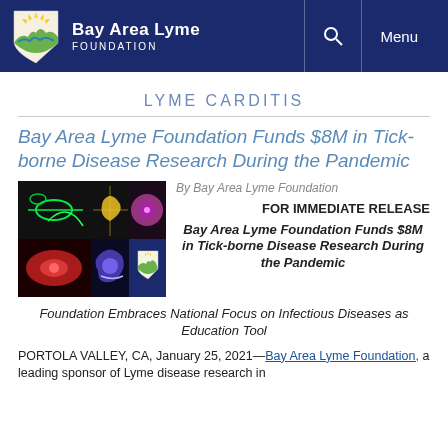Bay Area Lyme Foundation — Menu
LYME CARDITIS
Bay Area Lyme Foundation Funds $8M in Tick-borne Disease Research During the Pandemic
[Figure (photo): Collage of microscopy images showing Lyme disease bacteria and cells in various colors including green, red, yellow, and purple, with Bay Area Lyme Foundation logo in bottom right corner]
By Bay Area Lyme Foundation
FOR IMMEDIATE RELEASE
Bay Area Lyme Foundation Funds $8M in Tick-borne Disease Research During the Pandemic
Foundation Embraces National Focus on Infectious Diseases as Education Tool
PORTOLA VALLEY, CA, January 25, 2021—Bay Area Lyme Foundation, a leading sponsor of Lyme disease research in